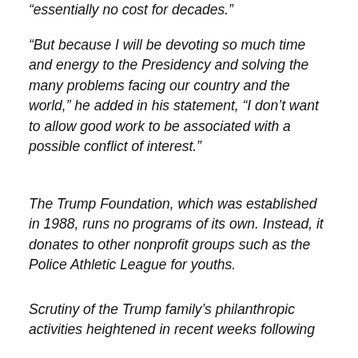“essentially no cost for decades.”
“But because I will be devoting so much time and energy to the Presidency and solving the many problems facing our country and the world,” he added in his statement, “I don’t want to allow good work to be associated with a possible conflict of interest.”
The Trump Foundation, which was established in 1988, runs no programs of its own. Instead, it donates to other nonprofit groups such as the Police Athletic League for youths.
Scrutiny of the Trump family’s philanthropic activities heightened in recent weeks following